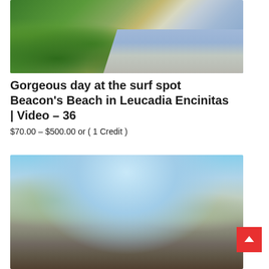[Figure (photo): Aerial view of coastal cliffs with green vegetation, sandy beach, and ocean waves at Beacon's Beach in Leucadia Encinitas]
Gorgeous day at the surf spot Beacon's Beach in Leucadia Encinitas | Video – 36
$70.00 – $500.00 or ( 1 Credit )
[Figure (photo): Aerial panoramic view of Encinitas city with suburban neighborhoods, hills, and blue sky in background]